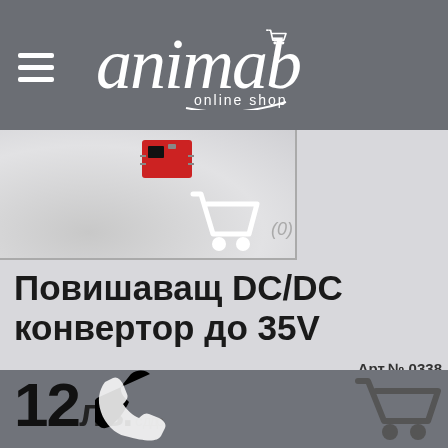[Figure (logo): Animab online shop logo with hamburger menu icon on dark grey header background]
[Figure (photo): Product photo area showing a small red electronic component (DC/DC converter board) on a light background, partially visible, with a white shopping cart icon overlay and (0) text]
Повишаващ DC/DC конвертор до 35V
Арт.№ 0338
12 лв. с ддс
[Figure (illustration): Phone icon and cart icon overlaid on dark grey footer bar]